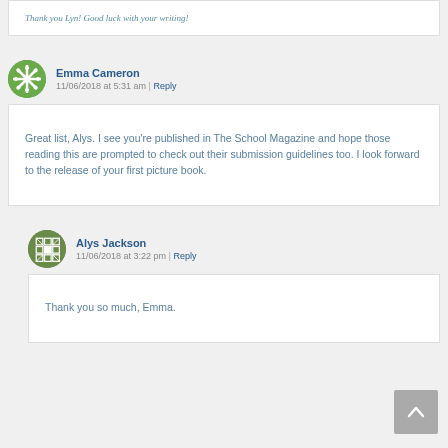Thank you Lyn! Good luck with your writing!
Emma Cameron
11/06/2018 at 5:31 am | Reply
Great list, Alys. I see you're published in The School Magazine and hope those reading this are prompted to check out their submission guidelines too. I look forward to the release of your first picture book.
Alys Jackson
11/06/2018 at 3:22 pm | Reply
Thank you so much, Emma.